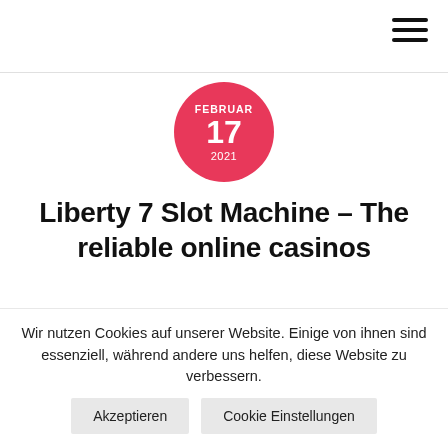FEBRUAR 17 2021
Liberty 7 Slot Machine – The reliable online casinos
Are online casino games legit?
Here's a video that gives you a fantastic visual, but
Wir nutzen Cookies auf unserer Website. Einige von ihnen sind essenziell, während andere uns helfen, diese Website zu verbessern. Akzeptieren Cookie Einstellungen